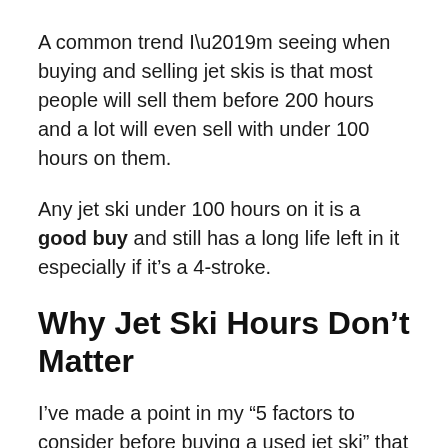A common trend I’m seeing when buying and selling jet skis is that most people will sell them before 200 hours and a lot will even sell with under 100 hours on them.
Any jet ski under 100 hours on it is a good buy and still has a long life left in it especially if it’s a 4-stroke.
Why Jet Ski Hours Don’t Matter
I’ve made a point in my “5 factors to consider before buying a used jet ski” that hours don’t matter.